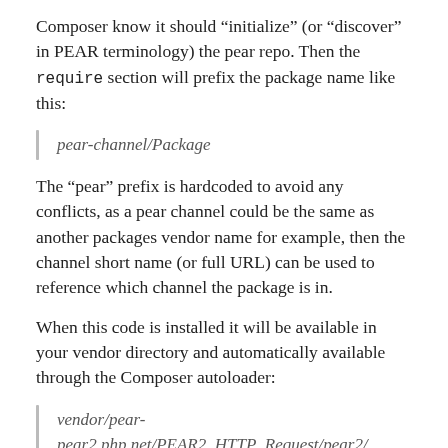Composer know it should “initialize” (or “discover” in PEAR terminology) the pear repo. Then the require section will prefix the package name like this:
pear-channel/Package
The “pear” prefix is hardcoded to avoid any conflicts, as a pear channel could be the same as another packages vendor name for example, then the channel short name (or full URL) can be used to reference which channel the package is in.
When this code is installed it will be available in your vendor directory and automatically available through the Composer autoloader:
vendor/pear-pear2.php.net/PEAR2_HTTP_Request/pear2/HTTP/Request.php